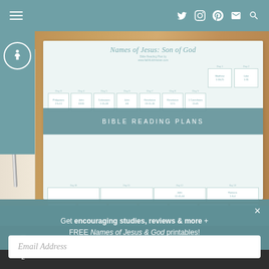≡  (navigation icons: twitter, instagram, pinterest, email, search)
[Figure (screenshot): A Bible reading plan printable titled 'Names of Jesus: Son of God' with a grid of day cells containing Bible verse references. Overlaid with a teal 'BIBLE READING PLANS' banner. Pen and notebook visible on wooden table background.]
Get encouraging studies, reviews & more + FREE Names of Jesus & God printables!
Email Address
Pinterest 2  Twitter  Facebook  SMS  Email  Link  Other (share icons)